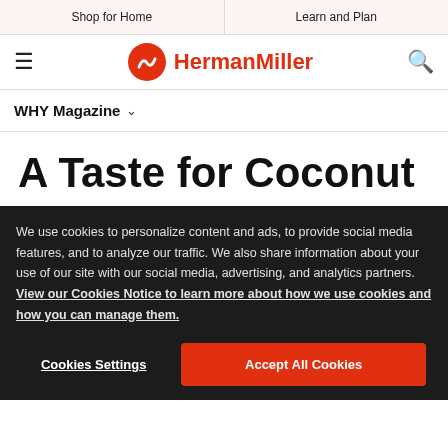Shop for Home | Learn and Plan
[Figure (logo): HermanMiller logo with red circle icon and red text]
WHY Magazine
A Taste for Coconut
We use cookies to personalize content and ads, to provide social media features, and to analyze our traffic. We also share information about your use of our site with our social media, advertising, and analytics partners. View our Cookies Notice to learn more about how we use cookies and how you can manage them.
Cookies Settings | Accept All Cookies